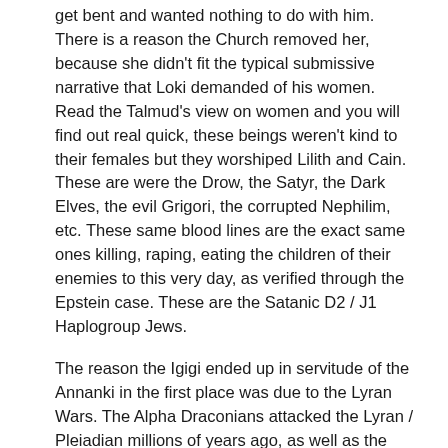get bent and wanted nothing to do with him. There is a reason the Church removed her, because she didn't fit the typical submissive narrative that Loki demanded of his women. Read the Talmud's view on women and you will find out real quick, these beings weren't kind to their females but they worshiped Lilith and Cain. These are were the Drow, the Satyr, the Dark Elves, the evil Grigori, the corrupted Nephilim, etc. These same blood lines are the exact same ones killing, raping, eating the children of their enemies to this very day, as verified through the Epstein case. These are the Satanic D2 / J1 Haplogroup Jews.
The reason the Igigi ended up in servitude of the Annanki in the first place was due to the Lyran Wars. The Alpha Draconians attacked the Lyran / Pleiadian millions of years ago, as well as the Sirians. The Draco conquer worlds, but ran into an issue when the Lyran / Vegan alliance defeated them in battle long before earth of humanity was ever thought of. This lead to the formation of Emerald Council aka the Council of Five which is under the direction of the Arcturians who mediated the terms of the agreements. The Annunaki home world as a result consisted of these three races. The Lyrans/Pleadians were considered the leaders under Anu, whilst the Sirians acted as their council / wisemen, and the defeated Draco as a warrior